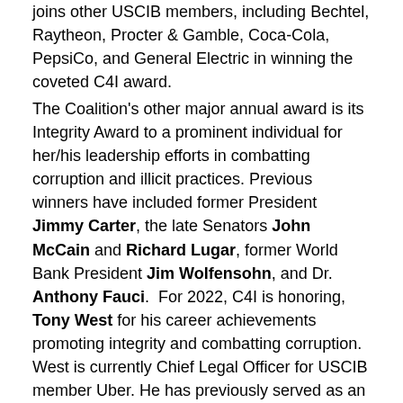joins other USCIB members, including Bechtel, Raytheon, Procter & Gamble, Coca-Cola, PepsiCo, and General Electric in winning the coveted C4I award.
The Coalition's other major annual award is its Integrity Award to a prominent individual for her/his leadership efforts in combatting corruption and illicit practices. Previous winners have included former President Jimmy Carter, the late Senators John McCain and Richard Lugar, former World Bank President Jim Wolfensohn, and Dr. Anthony Fauci.  For 2022, C4I is honoring, Tony West for his career achievements promoting integrity and combatting corruption.  West is currently Chief Legal Officer for USCIB member Uber. He has previously served as an Assistant U.S. Attorney, Assistant Attorney General for the Civil Division, Associate Attorney General, which is the third highest position in the Department of Justice, and in the private sector as General Counsel at PepsiCo and in his current role at Uber. The Coalition also lit Worth the leadership efforts t